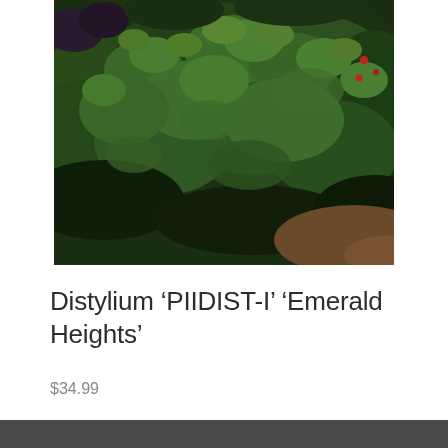[Figure (photo): Close-up photograph of dense green foliage of Distylium 'PIIDIST-I' 'Emerald Heights' shrub with dark green leaves filling the frame, photographed outdoors.]
Distylium ‘PIIDIST-I’ ‘Emerald Heights’
$34.99